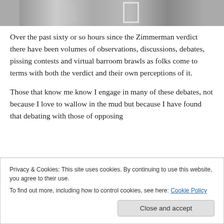[Figure (photo): Partial black and white photograph showing people, cropped at top of page]
Over the past sixty or so hours since the Zimmerman verdict there have been volumes of observations, discussions, debates, pissing contests and virtual barroom brawls as folks come to terms with both the verdict and their own perceptions of it.
Those that know me know I engage in many of these debates, not because I love to wallow in the mud but because I have found that debating with those of opposing
Privacy & Cookies: This site uses cookies. By continuing to use this website, you agree to their use.
To find out more, including how to control cookies, see here: Cookie Policy
Close and accept